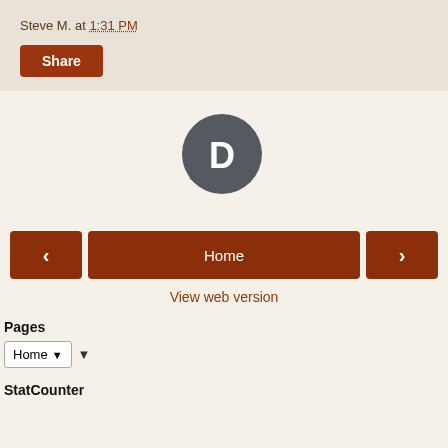Steve M. at 1:31 PM
Share
[Figure (logo): Disqus comment platform logo — grey speech bubble with white D letter]
< (previous navigation button)
Home
> (next navigation button)
View web version
Pages
Home ▼
StatCounter